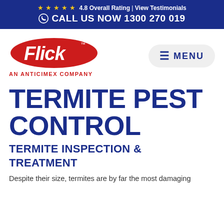★★★★★ 4.8 Overall Rating | View Testimonials  CALL US NOW 1300 270 019
[Figure (logo): Flick pest control logo - red oval with white Flick text, AN ANTICIMEX COMPANY below in red]
MENU
TERMITE PEST CONTROL
TERMITE INSPECTION & TREATMENT
Despite their size, termites are by far the most damaging